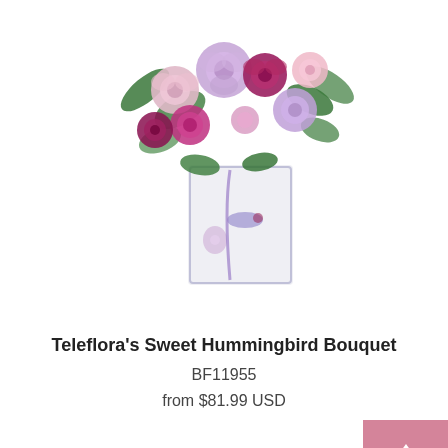[Figure (photo): Floral bouquet in a decorative glass vase with hummingbird design, featuring pink and purple roses, carnations, and greenery]
Teleflora's Sweet Hummingbird Bouquet
BF11955
from $81.99 USD
Order Now
[Figure (photo): Round floral bouquet featuring purple, pink and magenta roses, chrysanthemums, carnations and greenery]